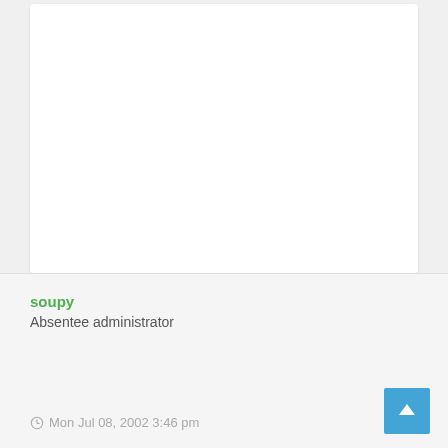soupy
Absentee administrator
Mon Jul 08, 2002 3:46 pm